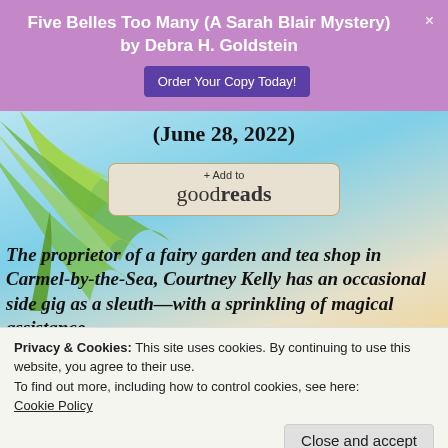Five Belles Too Many (A Sarah Blair Mystery) by Debra H. Goldstein
[Figure (screenshot): Order Your Copy Today! button (purple) and close X button in header banner]
(June 28, 2022)
[Figure (logo): + Add to goodreads button on beach/tropical background]
The proprietor of a fairy garden and tea shop in Carmel-by-the-Sea, Courtney Kelly has an occasional side gig as a sleuth—with a sprinkling of magical assistance.
Privacy & Cookies: This site uses cookies. By continuing to use this website, you agree to their use.
To find out more, including how to control cookies, see here: Cookie Policy
Close and accept